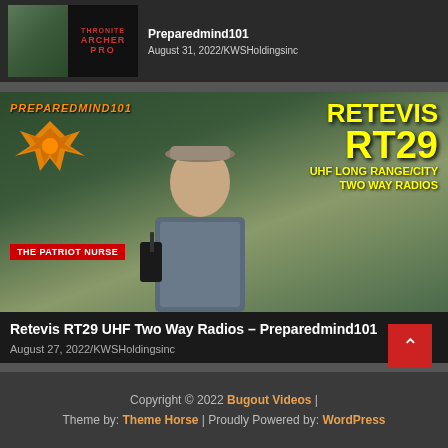[Figure (screenshot): Video thumbnail top card showing Preparedmind101 with Thrunite Archer Pro text on dark background]
Preparedmind101
August 31, 2022/KWSHoldingsinc
[Figure (screenshot): Video thumbnail showing man holding Retevis RT29 UHF two way radio with Preparedmind101 logo, yellow Retevis RT29 UHF Long Range/City Two Way Radios text, and THE PATRIOT NURSE badge]
Retevis RT29 UHF Two Way Radios – Preparedmind101
August 27, 2022/KWSHoldingsinc
Copyright © 2022 Bugout Videos  |  Theme by: Theme Horse  |  Proudly Powered by: WordPress